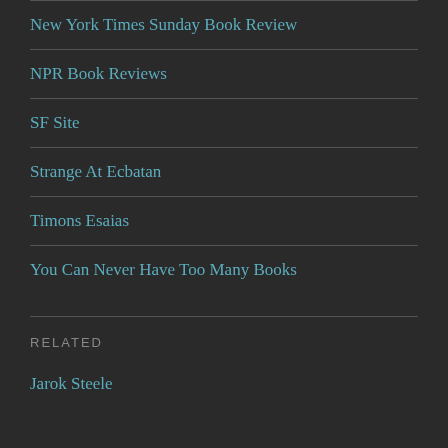New York Times Sunday Book Review
NPR Book Reviews
SF Site
Strange At Ecbatan
Timons Esaias
You Can Never Have Too Many Books
RELATED
Jarok Steele